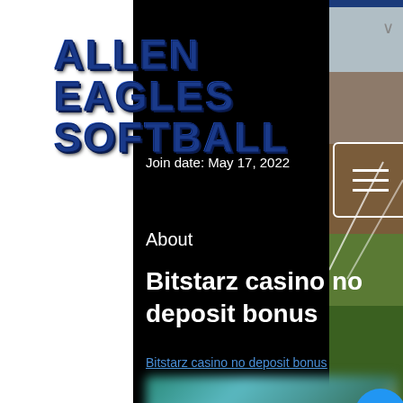ALLEN EAGLES SOFTBALL
Join date: May 17, 2022
About
Bitstarz casino no deposit bonus
Bitstarz casino no deposit bonus
[Figure (photo): Blurred promotional image for Bitstarz casino]